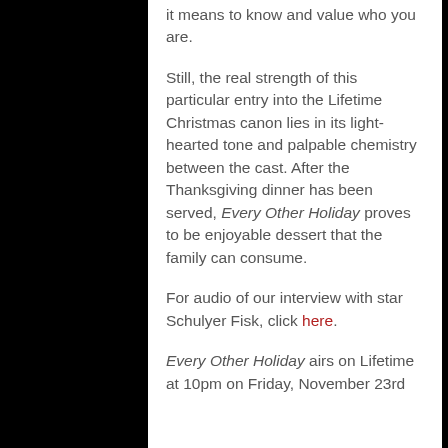it means to know and value who you are.
Still, the real strength of this particular entry into the Lifetime Christmas canon lies in its light-hearted tone and palpable chemistry between the cast. After the Thanksgiving dinner has been served, Every Other Holiday proves to be enjoyable dessert that the family can consume.
For audio of our interview with star Schulyer Fisk, click here.
Every Other Holiday airs on Lifetime at 10pm on Friday, November 23rd